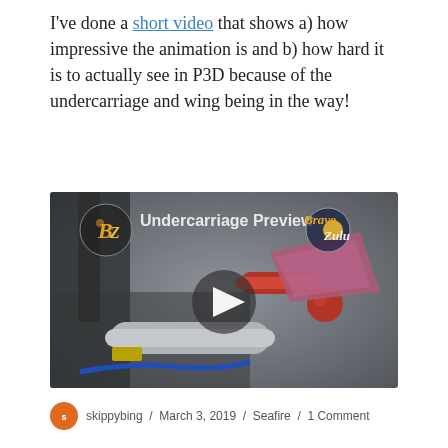I've done a short video that shows a) how impressive the animation is and b) how hard it is to actually see in P3D because of the undercarriage and wing being in the way!
[Figure (screenshot): YouTube video thumbnail showing an undercarriage animation preview labeled 'Undercarriage Preview' with a BravoZulu logo and a play button overlay, depicting a 3D model of aircraft undercarriage components.]
skippybing / March 3, 2019 / Seafire / 1 Comment